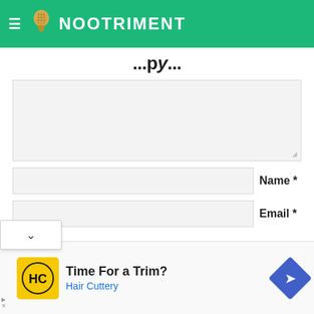NOOTRIMENT
...py...
[Figure (screenshot): Comment textarea input box with light gray background and resize handle]
Name *
[Figure (screenshot): Name input field]
Email *
[Figure (screenshot): Email input field with dropdown overlay showing chevron]
[Figure (infographic): Advertisement banner: Time For a Trim? Hair Cuttery — with HC logo and navigation arrow icon]